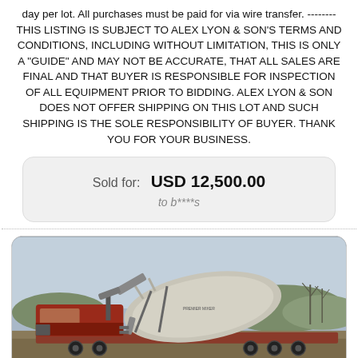day per lot. All purchases must be paid for via wire transfer. --------THIS LISTING IS SUBJECT TO ALEX LYON & SON'S TERMS AND CONDITIONS, INCLUDING WITHOUT LIMITATION, THIS IS ONLY A "GUIDE" AND MAY NOT BE ACCURATE, THAT ALL SALES ARE FINAL AND THAT BUYER IS RESPONSIBLE FOR INSPECTION OF ALL EQUIPMENT PRIOR TO BIDDING. ALEX LYON & SON DOES NOT OFFER SHIPPING ON THIS LOT AND SUCH SHIPPING IS THE SOLE RESPONSIBILITY OF BUYER. THANK YOU FOR YOUR BUSINESS.
Sold for: USD 12,500.00 to b****s
[Figure (photo): A cement mixer truck on a flatbed trailer, photographed outdoors with bare trees and overcast sky in the background. The truck is red and the mixer drum is light grey/white.]